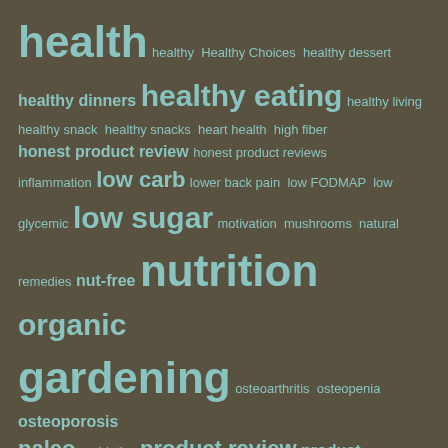[Figure (infographic): Word cloud on dark olive/brown background with teal/light blue text. Words are sized by frequency/importance. Key large words: health, healthy eating, low sugar, nutrition, organic gardening, small gardens, soy free, vegetable garden, wellness. Medium words: healthy dinners, honest product review, honest product reviews, low carb, nut-free, osteoporosis, paleo, product review, protein, vegan, vegetables, weight loss. Small words: healthy, Healthy Choices, healthy dessert, healthy living, healthy snack, healthy snacks, heart health, high fiber, inflammation, lower back pain, low FODMAP, low glycemic, motivation, mushrooms, natural remedies, osteoarthritis, osteopenia, probiotics, product reviewer, refined sugar free, seed starting, strength training, sugar, supplements, vegetarian, vertical gardening, winter gardening, women's health.]